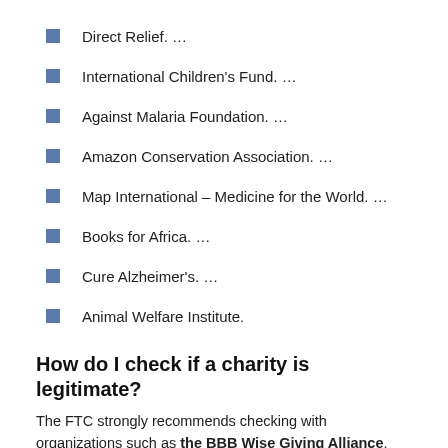Direct Relief. …
International Children's Fund. …
Against Malaria Foundation. …
Amazon Conservation Association. …
Map International – Medicine for the World. …
Books for Africa. …
Cure Alzheimer's. …
Animal Welfare Institute.
How do I check if a charity is legitimate?
The FTC strongly recommends checking with organizations such as the BBB Wise Giving Alliance, Charity Navigator, CharityWatch, or GuideStar which will help you get a better picture of how much of the charity's donations go towards expenses and overhead.